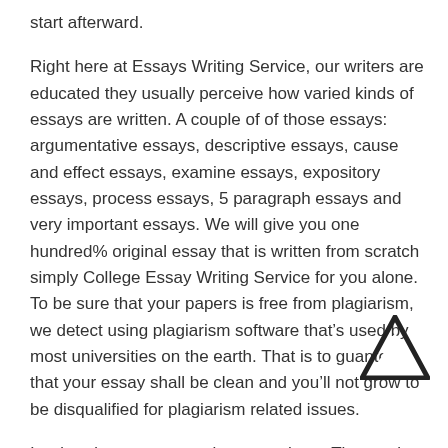start afterward.
Right here at Essays Writing Service, our writers are educated they usually perceive how varied kinds of essays are written. A couple of of those essays: argumentative essays, descriptive essays, cause and effect essays, examine essays, expository essays, process essays, 5 paragraph essays and very important essays. We will give you one hundred% original essay that is written from scratch simply College Essay Writing Service for you alone. To be sure that your papers is free from plagiarism, we detect using plagiarism software that’s used by most universities on the earth. That is to guantee that your essay shall be clean and you’ll not grow to be disqualified for plagiarism related issues.
I ordered an argumentative essay here. The service was quick and the worth was okay. They delivered my paper on time, but the final paragraph didnбѢt actually meet my requirements. Needed to ask for a revision. We even have premium writers dealing with extra-difficult or